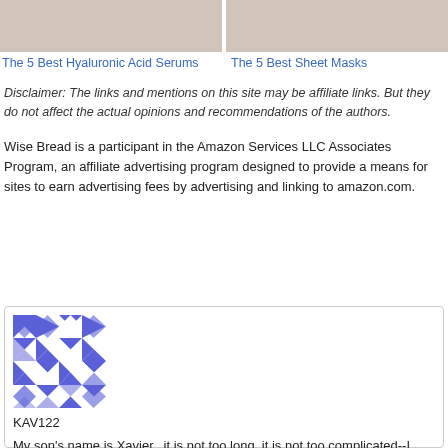[Figure (photo): Two cropped photos side by side: left shows hands applying serum to face, right shows hands near face with sheet mask context]
The 5 Best Hyaluronic Acid Serums    The 5 Best Sheet Masks
Disclaimer: The links and mentions on this site may be affiliate links. But they do not affect the actual opinions and recommendations of the authors.
Wise Bread is a participant in the Amazon Services LLC Associates Program, an affiliate advertising program designed to provide a means for sites to earn advertising fees by advertising and linking to amazon.com.
[Figure (illustration): Blue and white geometric quilt pattern avatar for user KAV122]
KAV122
My son's name is Xavier...it is not too long, it is not too complicated--I think